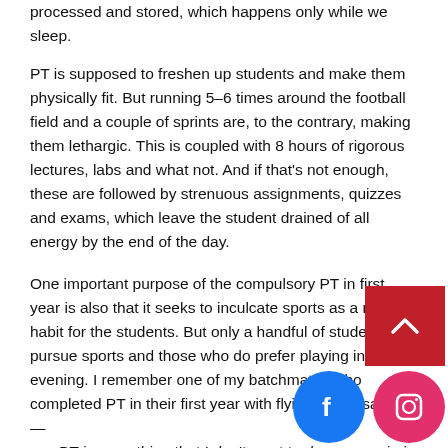processed and stored, which happens only while we sleep.
PT is supposed to freshen up students and make them physically fit. But running 5–6 times around the football field and a couple of sprints are, to the contrary, making them lethargic. This is coupled with 8 hours of rigorous lectures, labs and what not. And if that's not enough, these are followed by strenuous assignments, quizzes and exams, which leave the student drained of all energy by the end of the day.
One important purpose of the compulsory PT in first year is also that it seeks to inculcate sports as a regular habit for the students. But only a handful of students pursue sports and those who do prefer playing in the evening. I remember one of my batchmates who completed PT in their first year with flying colors saying—
PT is something that I don't want to do ever again in life. It